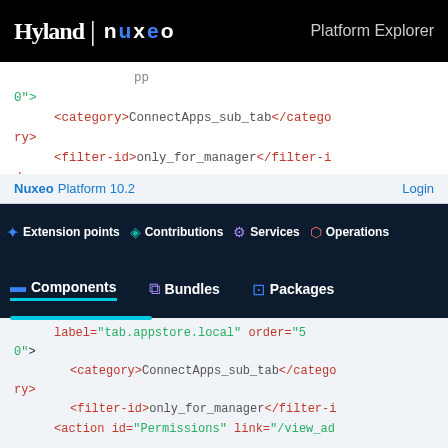Hyland | NUXEO  Platform Explorer
label="tab.appstore.local" order="50">
<category>ConnectApps_sub_tab</category>
<filter-id>only_for_manager</filter-id>
Nuxeo Platform 10.2   Login
Extension points  Contributions  Services  Operations
Components  Bundles  Packages
label="tab.appstore.local" order="50">
<category>ConnectApps_sub_tab</category>
<filter-id>only_for_manager</filter-id>
</action>

<action id="Permissions" link="/view_admin-fragment.xhtml"
type="admin_rest_document_link"
label="admcommand.permissions" order="40">
<category>NUXEO ADMIN</category>